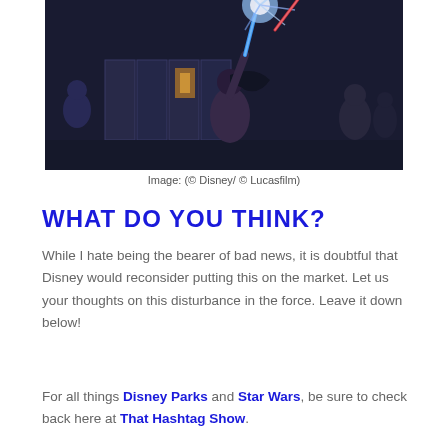[Figure (photo): A person wielding a blue lightsaber in a dramatic battle scene with bright clash of blades, set in a dark sci-fi corridor environment with other figures visible in the background. Star Wars themed concept art.]
Image: (© Disney/ © Lucasfilm)
WHAT DO YOU THINK?
While I hate being the bearer of bad news, it is doubtful that Disney would reconsider putting this on the market. Let us your thoughts on this disturbance in the force. Leave it down below!
For all things Disney Parks and Star Wars, be sure to check back here at That Hashtag Show.